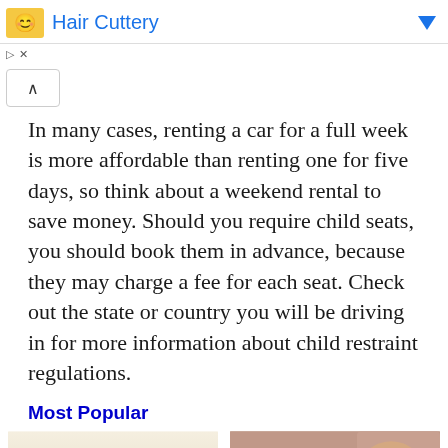[Figure (other): Hair Cuttery advertisement banner with logo and blue arrow]
[Figure (other): Collapse/accordion button with caret up symbol]
In many cases, renting a car for a full week is more affordable than renting one for five days, so think about a weekend rental to save money. Should you require child seats, you should book them in advance, because they may charge a fee for each seat. Check out the state or country you will be driving in for more information about child restraint regulations.
Most Popular
[Figure (photo): Woman standing outside a white vehicle in a desert, smiling and cheering]
[Figure (photo): Young woman with glasses sitting in a car, touching her hair and looking to the side]